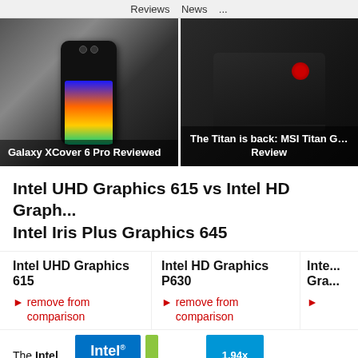Reviews  News  ...
[Figure (photo): Samsung Galaxy XCover 6 Pro smartphone product photo on dark background with colorful screen visible]
Galaxy XCover 6 Pro Reviewed
[Figure (photo): MSI Titan GT gaming laptop rear/side view on dark background with red MSI logo]
The Titan is back: MSI Titan G... Review
Intel UHD Graphics 615 vs Intel HD Graph... Intel Iris Plus Graphics 645
Intel UHD Graphics 615
Intel HD Graphics P630
Intel... Gra...
► remove from comparison
► remove from comparison
The Intel
[Figure (logo): Intel Graphics logo badge in blue]
[Figure (bar-chart): Green bar and blue 1.94x badge comparison graphic]